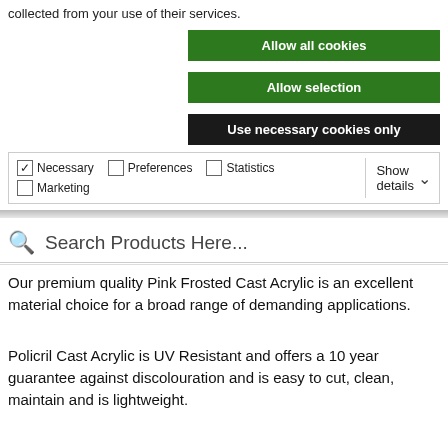collected from your use of their services.
Allow all cookies
Allow selection
Use necessary cookies only
Necessary   Preferences   Statistics   Marketing   Show details
Search Products Here...
Our premium quality Pink Frosted Cast Acrylic is an excellent material choice for a broad range of demanding applications.
Policril Cast Acrylic is UV Resistant and offers a 10 year guarantee against discolouration and is easy to cut, clean, maintain and is lightweight.
Cast Acrylic is easy to cut, drill, machine and fabricate.
Pink Frosted Acrylic Sheet can be used in applications both commercial and domestic; some of the common applications